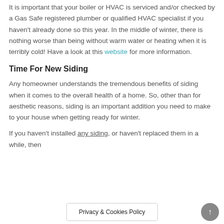It is important that your boiler or HVAC is serviced and/or checked by a Gas Safe registered plumber or qualified HVAC specialist if you haven't already done so this year. In the middle of winter, there is nothing worse than being without warm water or heating when it is terribly cold! Have a look at this website for more information.
Time For New Siding
Any homeowner understands the tremendous benefits of siding when it comes to the overall health of a home. So, other than for aesthetic reasons, siding is an important addition you need to make to your house when getting ready for winter.
If you haven't installed any siding, or haven't replaced them in a while, then
Privacy & Cookies Policy